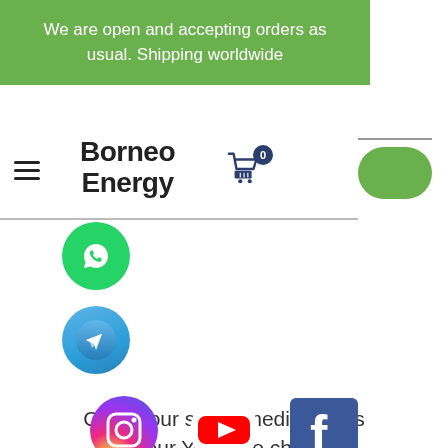We are open and accepting orders as usual. Shipping worldwide
[Figure (screenshot): Borneo Energy website navigation bar with hamburger menu, logo, shopping cart with badge 0, and green button]
[Figure (logo): WhatsApp green circle icon]
[Figure (logo): Telegram blue circle icon]
Check our social media pages and our YouTube channel
[Figure (logo): Instagram, YouTube, and Facebook social media icons at the bottom]